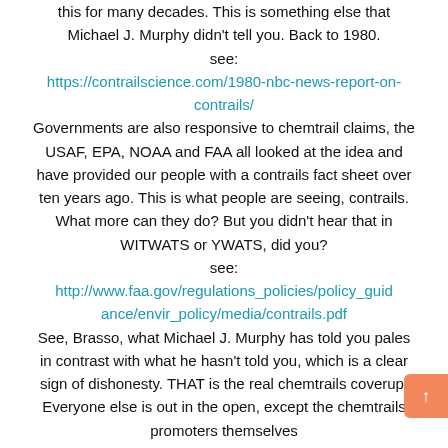this for many decades. This is something else that Michael J. Murphy didn't tell you. Back to 1980.
see:
https://contrailscience.com/1980-nbc-news-report-on-contrails/
Governments are also responsive to chemtrail claims, the USAF, EPA, NOAA and FAA all looked at the idea and have provided our people with a contrails fact sheet over ten years ago. This is what people are seeing, contrails. What more can they do? But you didn't hear that in WITWATS or YWATS, did you?
see:
http://www.faa.gov/regulations_policies/policy_guidance/envir_policy/media/contrails.pdf
See, Brasso, what Michael J. Murphy has told you pales in contrast with what he hasn't told you, which is a clear sign of dishonesty. THAT is the real chemtrails coverup. Everyone else is out in the open, except the chemtrails promoters themselves